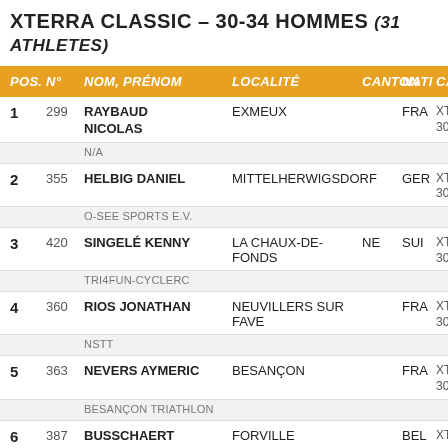XTERRA CLASSIC – 30-34 HOMMES (31 ATHLETES)
| POS. | N° | NOM, PRÉNOM | LOCALITÉ | CANTON | NATI | CAT |
| --- | --- | --- | --- | --- | --- | --- |
| 1 | 299 | RAYBAUD NICOLAS | EXMEUX |  | FRA | XTER 30-3 |
|  |  | N/A |  |  |  |  |
| 2 | 355 | HELBIG DANIEL | MITTELHERWIGSDORF |  | GER | XTER 30-3 |
|  |  | O-SEE SPORTS E.V. |  |  |  |  |
| 3 | 420 | SINGELÉ KENNY | LA CHAUX-DE-FONDS | NE | SUI | XTER 30-3 |
|  |  | TRI4FUN-CYCLERC |  |  |  |  |
| 4 | 360 | RIOS JONATHAN | NEUVILLERS SUR FAVE |  | FRA | XTER 30-3 |
|  |  | NSTT |  |  |  |  |
| 5 | 363 | NEVERS AYMERIC | BESANÇON |  | FRA | XTER 30-3 |
|  |  | BESANÇON TRIATHLON |  |  |  |  |
| 6 | 387 | BUSSCHAERT | FORVILLE |  | BEL | XTER |